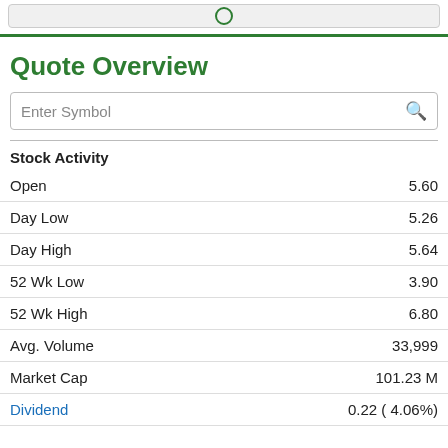Quote Overview
Enter Symbol
Stock Activity
|  |  |
| --- | --- |
| Open | 5.60 |
| Day Low | 5.26 |
| Day High | 5.64 |
| 52 Wk Low | 3.90 |
| 52 Wk High | 6.80 |
| Avg. Volume | 33,999 |
| Market Cap | 101.23 M |
| Dividend | 0.22 ( 4.06%) |